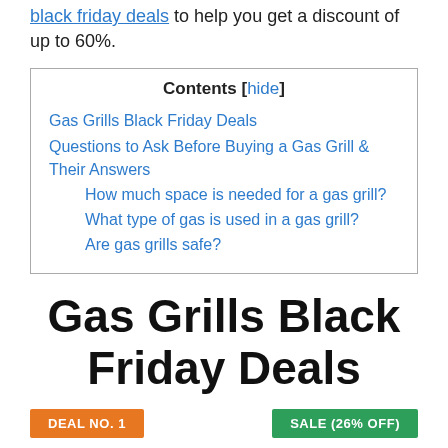black friday deals to help you get a discount of up to 60%.
| Contents [hide] |
| --- |
| Gas Grills Black Friday Deals |
| Questions to Ask Before Buying a Gas Grill & Their Answers |
| How much space is needed for a gas grill? |
| What type of gas is used in a gas grill? |
| Are gas grills safe? |
Gas Grills Black Friday Deals
DEAL NO. 1
SALE (26% OFF)